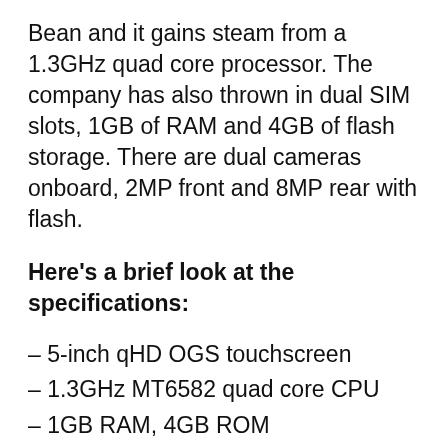Bean and it gains steam from a 1.3GHz quad core processor. The company has also thrown in dual SIM slots, 1GB of RAM and 4GB of flash storage. There are dual cameras onboard, 2MP front and 8MP rear with flash.
Here's a brief look at the specifications:
– 5-inch qHD OGS touchscreen
– 1.3GHz MT6582 quad core CPU
– 1GB RAM, 4GB ROM
– 3G support, Wi-Fi, Bluetooth, GPS